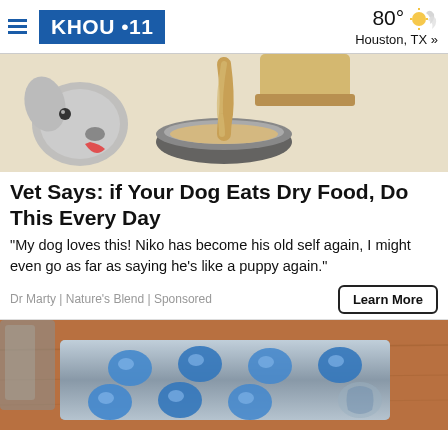KHOU 11 | 80° Houston, TX »
[Figure (illustration): Illustration of a dog being served food poured from a container into a metal bowl, cartoon style.]
Vet Says: if Your Dog Eats Dry Food, Do This Every Day
"My dog loves this! Niko has become his old self again, I might even go as far as saying he's like a puppy again."
Dr Marty | Nature's Blend | Sponsored
[Figure (photo): Close-up photo of blue pills in a blister pack on a wooden surface.]